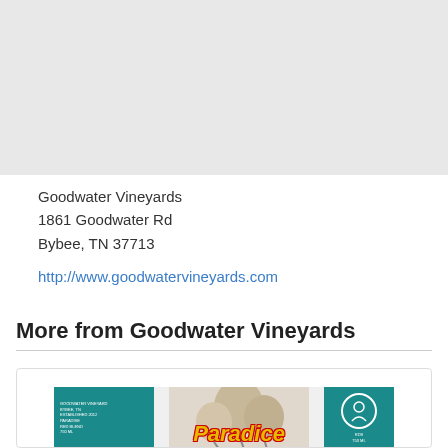[Figure (map): Gray map area placeholder]
Goodwater Vineyards
1861 Goodwater Rd
Bybee, TN 37713
http://www.goodwatervineyards.com
More from Goodwater Vineyards
[Figure (photo): Product image for Goodwater Vineyards wine bottle with teal label showing partial text 'Paradise' in yellow/italic lettering]